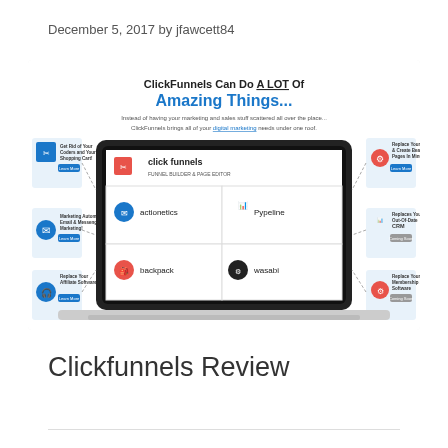December 5, 2017 by jfawcett84
[Figure (screenshot): ClickFunnels promotional infographic showing a laptop with the ClickFunnels Funnel Builder & Page Editor interface, featuring logos for click funnels, actionetics, Pypeline, backpack, and wasabi. Surrounding the laptop are icons and callouts: Get Rid of Your Coders and Your Shopping Cart!, Replace Your Designers & Create Beautiful Pages In Minutes, Marketing Automation Email & Messenger Marketing!, Replaces Your Out-Of-Date CRM, Replace Your Affiliate Software!, Replace Your Membership Site Software. Headline reads: ClickFunnels Can Do A LOT Of Amazing Things...]
Clickfunnels Review